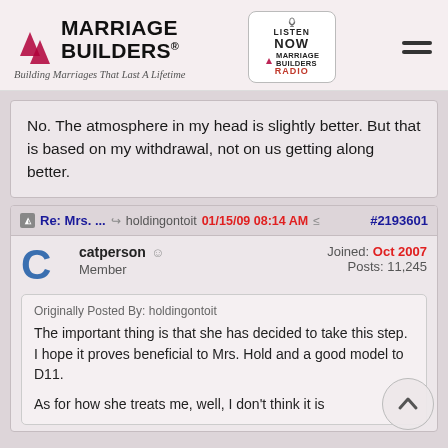Marriage Builders — Building Marriages That Last A Lifetime
No. The atmosphere in my head is slightly better. But that is based on my withdrawal, not on us getting along better.
Re: Mrs. ... holdingontoit 01/15/09 08:14 AM #2193601
catperson Member — Joined: Oct 2007 Posts: 11,245
Originally Posted By: holdingontoit
The important thing is that she has decided to take this step. I hope it proves beneficial to Mrs. Hold and a good model to D11.

As for how she treats me, well, I don't think it is
As for how she treats me, well, I don't think it is